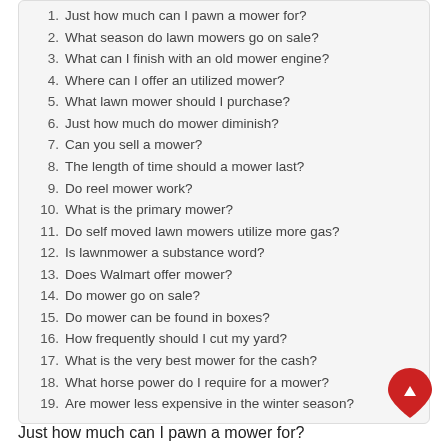1. Just how much can I pawn a mower for?
2. What season do lawn mowers go on sale?
3. What can I finish with an old mower engine?
4. Where can I offer an utilized mower?
5. What lawn mower should I purchase?
6. Just how much do mower diminish?
7. Can you sell a mower?
8. The length of time should a mower last?
9. Do reel mower work?
10. What is the primary mower?
11. Do self moved lawn mowers utilize more gas?
12. Is lawnmower a substance word?
13. Does Walmart offer mower?
14. Do mower go on sale?
15. Do mower can be found in boxes?
16. How frequently should I cut my yard?
17. What is the very best mower for the cash?
18. What horse power do I require for a mower?
19. Are mower less expensive in the winter season?
Just how much can I pawn a mower for?